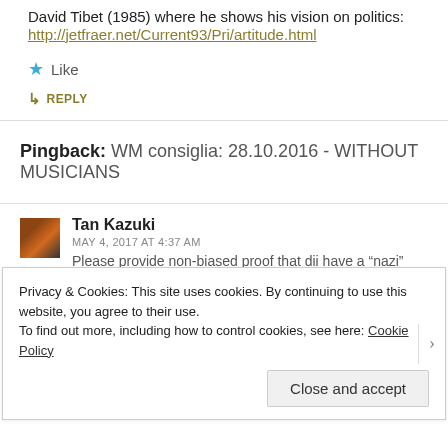David Tibet (1985) where he shows his vision on politics: http://jetfraer.net/Current93/Pri/artitude.html
Like
REPLY
Pingback: WM consiglia: 28.10.2016 - WITHOUT MUSICIANS
Tan Kazuki
MAY 4, 2017 AT 4:37 AM
Please provide non-biased proof that dii have a “nazi”
Privacy & Cookies: This site uses cookies. By continuing to use this website, you agree to their use.
To find out more, including how to control cookies, see here: Cookie Policy
Close and accept